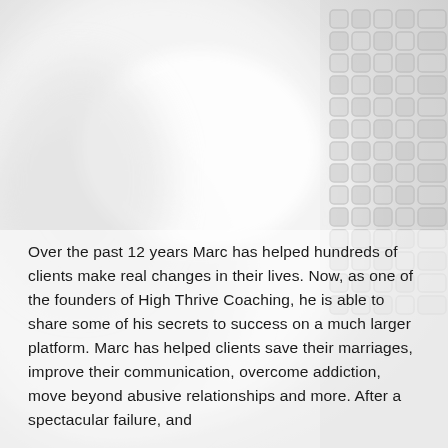[Figure (photo): Close-up blurred photo of white fabric or cushion material, with a woven/knitted texture visible on the right side. The image has a soft, light, monochromatic white-grey appearance.]
Over the past 12 years Marc has helped hundreds of clients make real changes in their lives. Now, as one of the founders of High Thrive Coaching, he is able to share some of his secrets to success on a much larger platform. Marc has helped clients save their marriages, improve their communication, overcome addiction, move beyond abusive relationships and more. After a spectacular failure, and